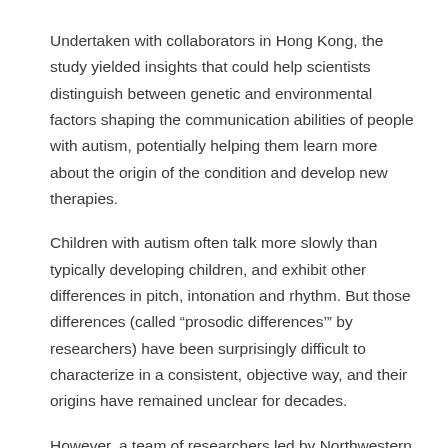Undertaken with collaborators in Hong Kong, the study yielded insights that could help scientists distinguish between genetic and environmental factors shaping the communication abilities of people with autism, potentially helping them learn more about the origin of the condition and develop new therapies.
Children with autism often talk more slowly than typically developing children, and exhibit other differences in pitch, intonation and rhythm. But those differences (called “prosodic differences’” by researchers) have been surprisingly difficult to characterize in a consistent, objective way, and their origins have remained unclear for decades.
However, a team of researchers led by Northwestern scientists Molly Losh and Joseph CY Lau, along with Hong Kong-based collaborator Patrick Wong and his team, successfully used supervised machine learning to identify speech differences